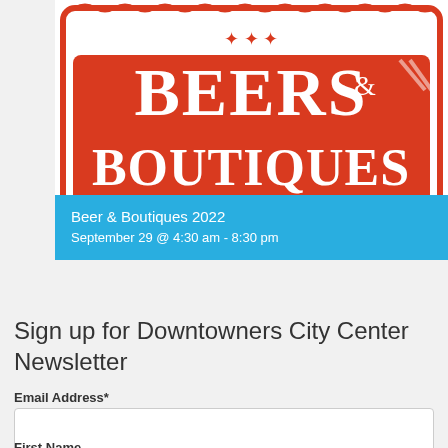[Figure (logo): Beers & Boutiques 2022 event logo with red serif text on white background with decorative red border]
Beer & Boutiques 2022
September 29 @ 4:30 am - 8:30 pm
View All Events
Sign up for Downtowners City Center Newsletter
Email Address*
First Name